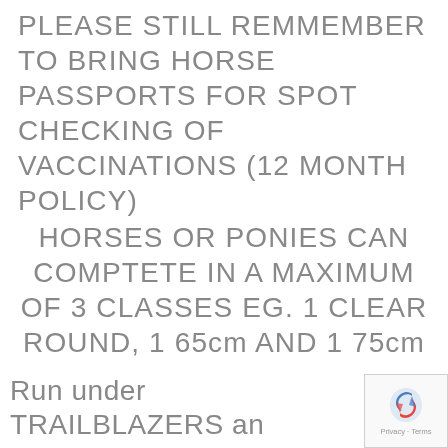PLEASE STILL REMMEMBER TO BRING HORSE PASSPORTS FOR SPOT CHECKING OF VACCINATIONS (12 MONTH POLICY)
HORSES OR PONIES CAN COMPTETE IN A MAXIMUM OF 3 CLASSES EG. 1 CLEAR ROUND, 1 65cm AND 1 75cm
Run under TRAILBLAZERS and BRITISH SHOWJUMPINGS rules